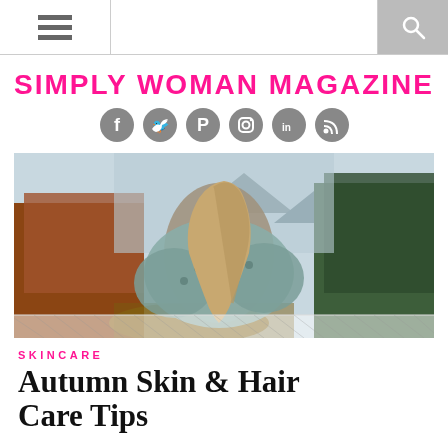[Navigation bar with hamburger menu and search icon]
SIMPLY WOMAN MAGAZINE
[Figure (other): Row of social media icons: Facebook, Twitter, Pinterest, Instagram, LinkedIn, RSS feed]
[Figure (photo): Woman seen from behind with long blonde hair, wearing a patterned boho wrap/shawl, standing in an autumn forest landscape with mountains in the background]
SKINCARE
Autumn Skin & Hair Care Tips